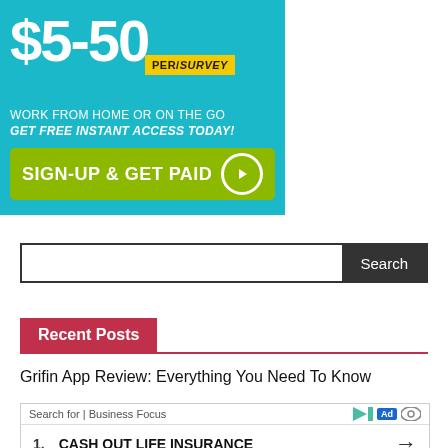[Figure (screenshot): Advertisement banner with teal background showing '$5-50 PER/SURVEY', text 'WORK FROM HOME OR ON THE GO', 'GET FREE INSTANT ACCESS TODAY!', and a green button 'SIGN-UP & GET PAID' with an arrow icon.]
[Figure (screenshot): Search bar with a text input field and a dark 'Search' button on the right.]
Recent Posts
Grifin App Review: Everything You Need To Know
[Figure (screenshot): Inline advertisement showing 'Search for | Business Focus' with play, Ad, and eye icons, and a listing '1. CASH OUT LIFE INSURANCE' with an arrow.]